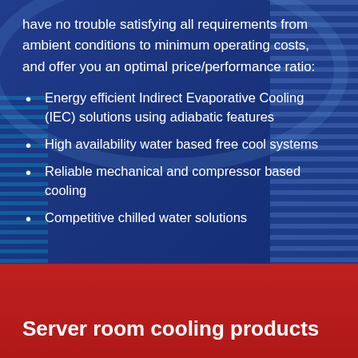have no trouble satisfying all requirements from ambient conditions to minimum operating costs, and offer you an optimal price/performance ratio:
Energy efficient Indirect Evaporative Cooling (IEC) solutions using adiabatic features
High availability water based free cool systems
Reliable mechanical and compressor based cooling
Competitive chilled water solutions
Server room cooling products